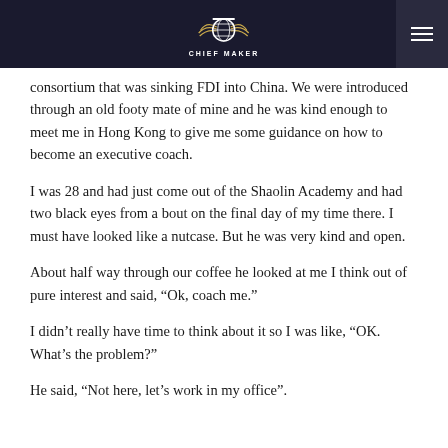CHIEF MAKER
consortium that was sinking FDI into China. We were introduced through an old footy mate of mine and he was kind enough to meet me in Hong Kong to give me some guidance on how to become an executive coach.
I was 28 and had just come out of the Shaolin Academy and had two black eyes from a bout on the final day of my time there. I must have looked like a nutcase. But he was very kind and open.
About half way through our coffee he looked at me I think out of pure interest and said, “Ok, coach me.”
I didn’t really have time to think about it so I was like, “OK. What’s the problem?”
He said, “Not here, let’s work in my office”.